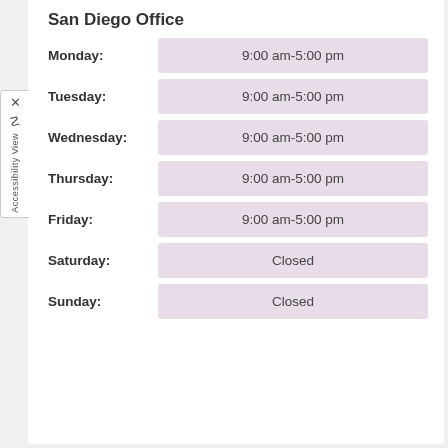San Diego Office
| Day | Hours |
| --- | --- |
| Monday: | 9:00 am-5:00 pm |
| Tuesday: | 9:00 am-5:00 pm |
| Wednesday: | 9:00 am-5:00 pm |
| Thursday: | 9:00 am-5:00 pm |
| Friday: | 9:00 am-5:00 pm |
| Saturday: | Closed |
| Sunday: | Closed |